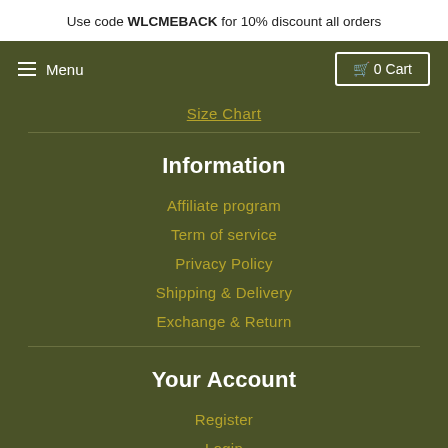Use code WLCMEBACK for 10% discount all orders
≡ Menu   🛒 0 Cart
Size Chart
Information
Affiliate program
Term of service
Privacy Policy
Shipping & Delivery
Exchange & Return
Your Account
Register
Login
Orders
Wishlist